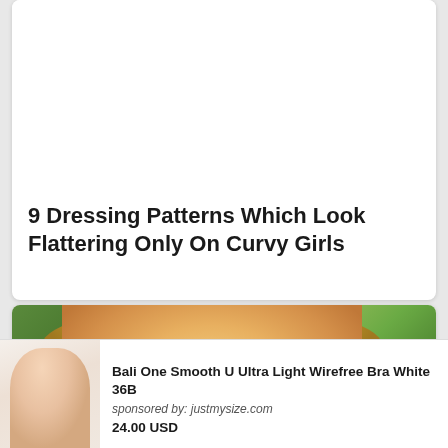9 Dressing Patterns Which Look Flattering Only On Curvy Girls
[Figure (photo): Blonde woman taking a selfie outdoors with green trees in background; smaller circular thumbnail of another blonde woman visible in lower right]
[Figure (photo): Advertisement showing a plus-size woman modeling a white bra]
Bali One Smooth U Ultra Light Wirefree Bra White 36B
sponsored by: justmysize.com
24.00 USD